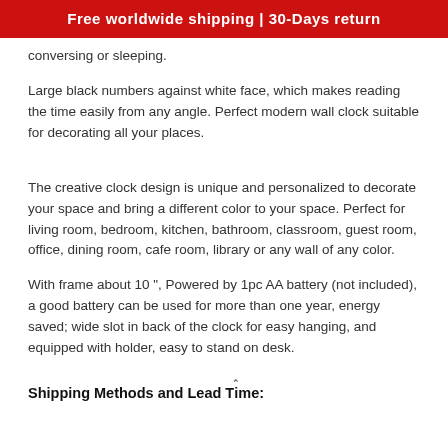Free worldwide shipping | 30-Days return
conversing or sleeping.
Large black numbers against white face, which makes reading the time easily from any angle. Perfect modern wall clock suitable for decorating all your places.
The creative clock design is unique and personalized to decorate your space and bring a different color to your space. Perfect for living room, bedroom, kitchen, bathroom, classroom, guest room, office, dining room, cafe room, library or any wall of any color.
With frame about 10 ", Powered by 1pc AA battery (not included), a good battery can be used for more than one year, energy saved; wide slot in back of the clock for easy hanging, and equipped with holder, easy to stand on desk.
Shipping Methods and Lead Time: